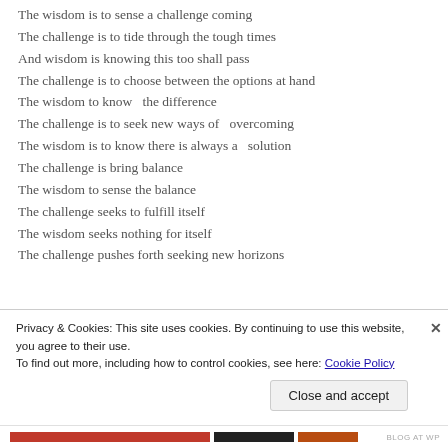The wisdom is to sense a challenge coming
The challenge is to tide through the tough times
And wisdom is knowing this too shall pass
The challenge is to choose between the options at hand
The wisdom to know  the difference
The challenge is to seek new ways of  overcoming
The wisdom is to know there is always a  solution
The challenge is bring balance
The wisdom to sense the balance
The challenge seeks to fulfill itself
The wisdom seeks nothing for itself
The challenge pushes forth seeking new horizons
Privacy & Cookies: This site uses cookies. By continuing to use this website, you agree to their use.
To find out more, including how to control cookies, see here: Cookie Policy